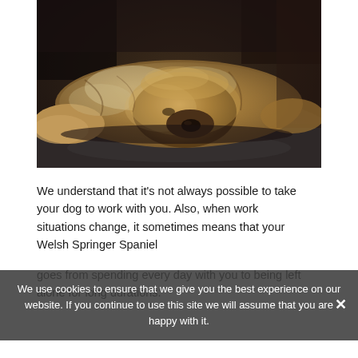[Figure (photo): A fluffy dog lying flat on a dark hardwood floor, head resting down, photographed from above at close range. The dog appears to be a Welsh Springer Spaniel or similar breed with brown and grey/white fur.]
We understand that it's not always possible to take your dog to work with you. Also, when work situations change, it sometimes means that your Welsh Springer Spaniel goes from spending every day with you to being left alone for long durations.
We use cookies to ensure that we give you the best experience on our website. If you continue to use this site we will assume that you are happy with it.